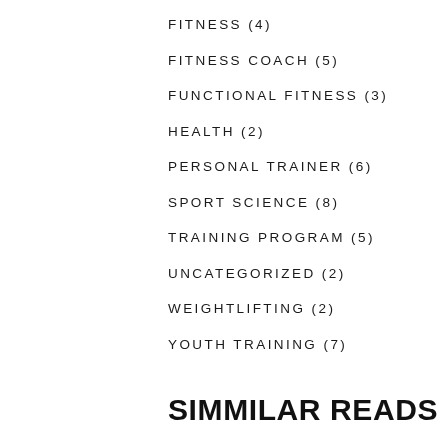FITNESS (4)
FITNESS COACH (5)
FUNCTIONAL FITNESS (3)
HEALTH (2)
PERSONAL TRAINER (6)
SPORT SCIENCE (8)
TRAINING PROGRAM (5)
UNCATEGORIZED (2)
WEIGHTLIFTING (2)
YOUTH TRAINING (7)
SIMMILAR READS